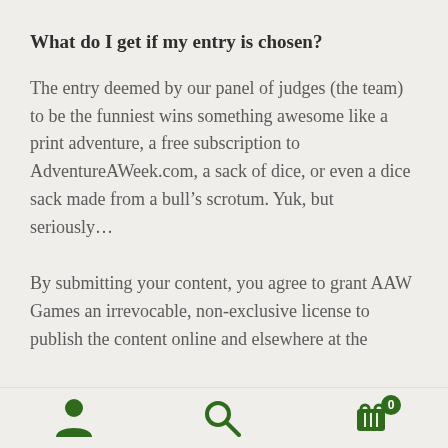What do I get if my entry is chosen?
The entry deemed by our panel of judges (the team) to be the funniest wins something awesome like a print adventure, a free subscription to AdventureAWeek.com, a sack of dice, or even a dice sack made from a bull’s scrotum. Yuk, but seriously…
By submitting your content, you agree to grant AAW Games an irrevocable, non-exclusive license to publish the content online and elsewhere at the
[Figure (other): Bottom navigation bar with three icons: person/account icon, search magnifying glass icon, and shopping cart icon with a badge showing 0]